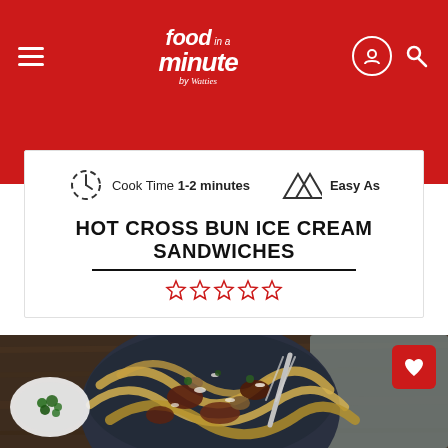food in a minute by Watties
Cook Time 1-2 minutes   Easy As
HOT CROSS BUN ICE CREAM SANDWICHES
[Figure (photo): A dark bowl of pappardelle pasta with meat sauce, mushrooms, garnished with grated parmesan and herbs, with a fork resting in the bowl. A small white plate of chopped herbs is visible to the left. A grey cloth napkin is in the background.]